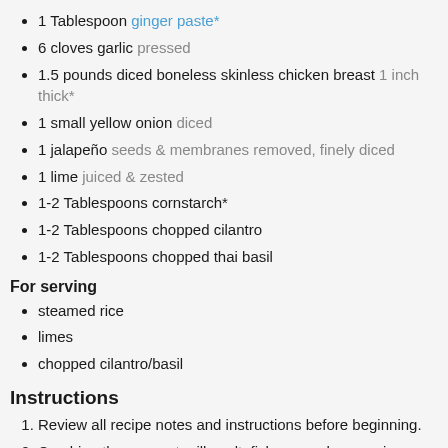1 Tablespoon ginger paste*
6 cloves garlic pressed
1.5 pounds diced boneless skinless chicken breast 1 inch thick*
1 small yellow onion diced
1 jalapeño seeds & membranes removed, finely diced
1 lime juiced & zested
1-2 Tablespoons cornstarch*
1-2 Tablespoons chopped cilantro
1-2 Tablespoons chopped thai basil
For serving
steamed rice
limes
chopped cilantro/basil
Instructions
Review all recipe notes and instructions before beginning.
Combine the coconut milk, salt, fish sauce, honey, ginger paste, and garlic in the Instant Pot.
Place the chicken in the coconut milk. Sprinkle the onion and